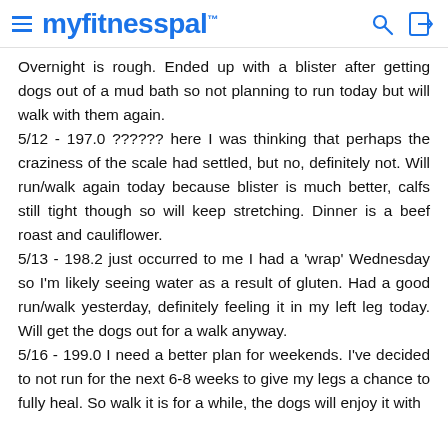myfitnesspal
Overnight is rough. Ended up with a blister after getting dogs out of a mud bath so not planning to run today but will walk with them again.
5/12 - 197.0 ?????? here I was thinking that perhaps the craziness of the scale had settled, but no, definitely not. Will run/walk again today because blister is much better, calfs still tight though so will keep stretching. Dinner is a beef roast and cauliflower.
5/13 - 198.2 just occurred to me I had a 'wrap' Wednesday so I'm likely seeing water as a result of gluten. Had a good run/walk yesterday, definitely feeling it in my left leg today. Will get the dogs out for a walk anyway.
5/16 - 199.0 I need a better plan for weekends. I've decided to not run for the next 6-8 weeks to give my legs a chance to fully heal. So walk it is for a while, the dogs will enjoy it with